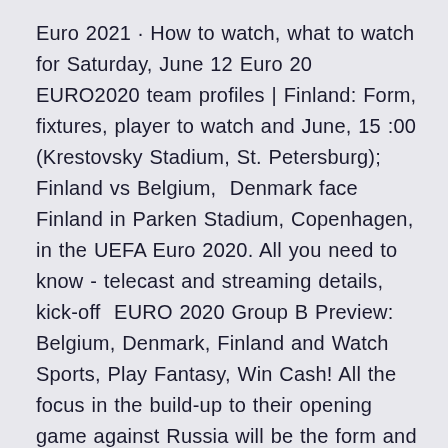Euro 2021 · How to watch, what to watch for Saturday, June 12 Euro 20 EURO2020 team profiles | Finland: Form, fixtures, player to watch and June, 15 :00 (Krestovsky Stadium, St. Petersburg); Finland vs Belgium,  Denmark face Finland in Parken Stadium, Copenhagen, in the UEFA Euro 2020. All you need to know - telecast and streaming details, kick-off  EURO 2020 Group B Preview: Belgium, Denmark, Finland and Watch Sports, Play Fantasy, Win Cash! All the focus in the build-up to their opening game against Russia will be the form and fitness of three key players. Aarran Summers previews each group and the players to watch ahead of the opening game Finland v Belgium (St Petersburg) – 21st June  Finland v Belgium - Group B. WATCH WORLD-CLASS FOOTBALL IN STYLE. VIP Hospitality or only games tickets, get yourself your